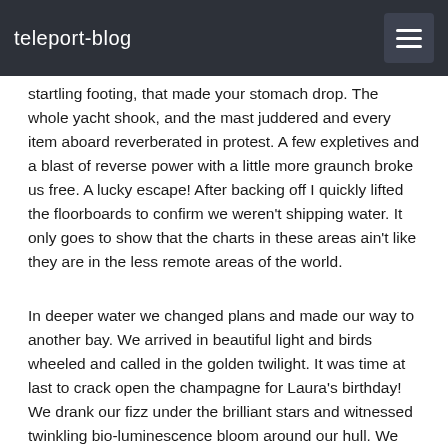teleport-blog
startling footing, that made your stomach drop.  The whole yacht shook, and the mast juddered and every item aboard reverberated in protest.  A few expletives and a blast of reverse power with a little more graunch broke us free.  A lucky escape!  After backing off I quickly lifted the floorboards to confirm we weren't shipping water.  It only goes to show that the charts in these areas ain't like they are in the less remote areas of the world.
In deeper water we changed plans and made our way to another bay.  We arrived in beautiful light and birds wheeled and called in the golden twilight.  It was time at last to crack open the champagne for Laura's birthday!  We drank our fizz under the brilliant stars and witnessed twinkling bio-luminescence bloom around our hull.  We quickly forgot our earlier ordeal distracted by the nutrient rich Pacific.  Pelicans plunged and large fish patrolled nearby, their dorsal fins